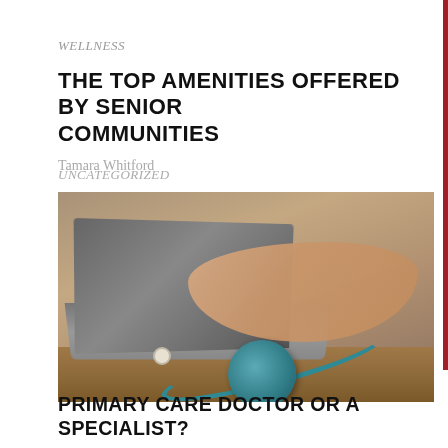WELLNESS
THE TOP AMENITIES OFFERED BY SENIOR COMMUNITIES
Tamara Whitford
[Figure (photo): A person typing on a laptop with a stethoscope in the foreground on a wooden desk]
UNCATEGORIZED
PRIMARY CARE DOCTOR OR A SPECIALIST?